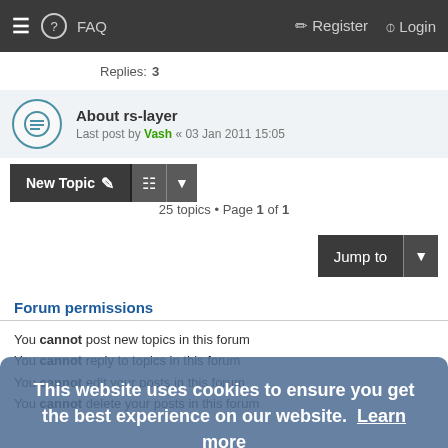≡ ? FAQ    Register  Login
Replies: 3
About rs-layer
Last post by Vash « 03 Jan 2011 15:05
New Topic  [sort]  25 topics • Page 1 of 1
Jump to
Forum permissions
You cannot post new topics in this forum
You cannot reply to topics in this forum
You cannot edit your posts in this forum
You cannot delete your posts in this forum
This website uses cookies to ensure you get the best experience on our website. Learn more
Got it!
Privacy | Terms